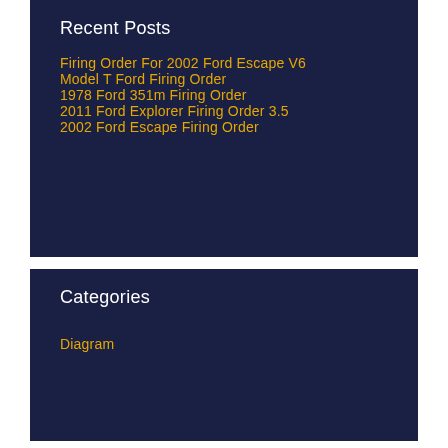Recent Posts
Firing Order For 2002 Ford Escape V6
Model T Ford Firing Order
1978 Ford 351m Firing Order
2011 Ford Explorer Firing Order 3.5
2002 Ford Escape Firing Order
Categories
Diagram